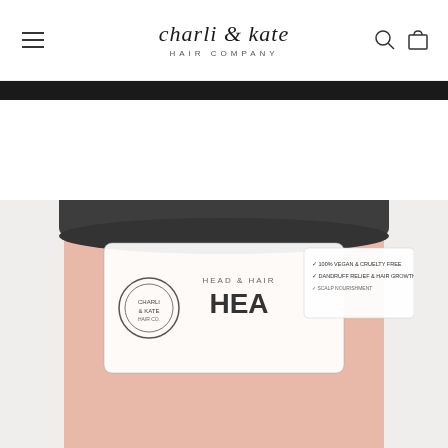[Figure (screenshot): Website header with hamburger menu icon on left, 'charli & kate HAIR COMPANY' logo in center, search and cart icons on right]
[Figure (photo): Product photo of a hair care jar (HEAD & HAIR HEAL) with peach/salmon colored body and dark gray lid, partially cropped at bottom of page. Label shows '100% VEGAN & CRUELTY FREE', 'DANDRUFF RELIEF & HAIR GROWTH' text visible on right side badge.]